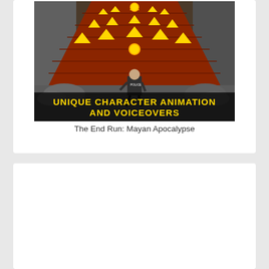[Figure (screenshot): Screenshot of a mobile game 'The End Run: Mayan Apocalypse' showing a police character running on a track with yellow arrow obstacles and the text 'UNIQUE CHARACTER ANIMATION AND VOICEOVERS' at the bottom.]
The End Run: Mayan Apocalypse
[Figure (screenshot): Screenshot of a mobile endless runner game showing 'The End' logo in yellow on dark background, with game HUD elements showing score 8443, 62, x164, 207 yd, Banana Store, cuncimokus, 193, and 5 bananas.]